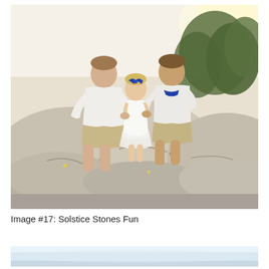[Figure (photo): Three children posing on large granite rocks outdoors at golden hour. Two older boys in white shirts and khaki shorts flank a small toddler girl in a white dress with a blue hair bow. Trees and bright sky visible in background.]
Image #17: Solstice Stones Fun
[Figure (photo): Partially visible photo at bottom of page, appears to show a light blue/white sky or water scene.]